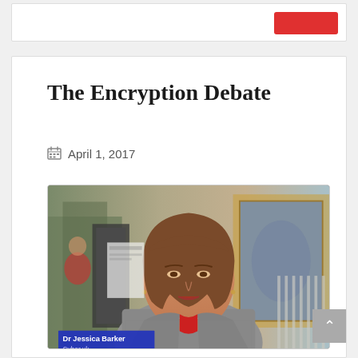The Encryption Debate
April 1, 2017
[Figure (photo): TV screenshot of Dr Jessica Barker from Cyber.uk being interviewed, with a lower-third graphic showing her name and organisation. She is a woman with a brown bob haircut wearing a grey tweed jacket over a red top, standing in what appears to be an ornate hall or building.]